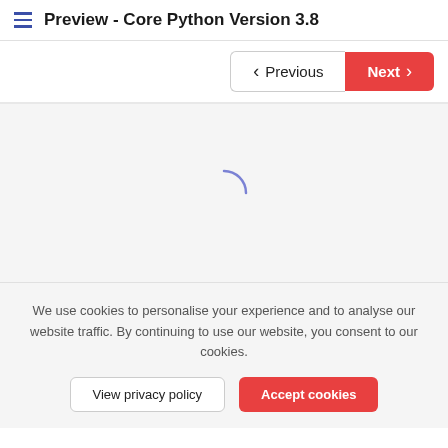Preview - Core Python Version 3.8
[Figure (other): Navigation buttons: Previous (with left chevron) and Next (with right chevron, red background)]
[Figure (other): Loading spinner: a partial circle arc in blue-purple, indicating content is loading]
We use cookies to personalise your experience and to analyse our website traffic. By continuing to use our website, you consent to our cookies.
[Figure (other): Two buttons: 'View privacy policy' (outlined) and 'Accept cookies' (red background)]